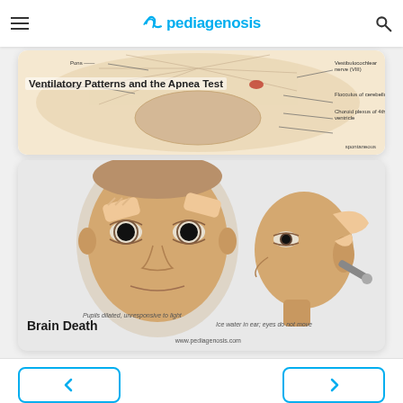pediagenosis
[Figure (illustration): Partial view of brain anatomy card showing Pons, Middle cerebellar, Vestibulocochlear nerve (VIII), Flocculus of cerebellum, Choroid plexus of 4th ventricle labels. Title overlay: Ventilatory Patterns and the Apnea Test. Text: spontaneous respiration.]
[Figure (illustration): Brain Death card showing two clinical illustrations: left - face with pupils dilated, unresponsive to light; right - ice water caloric test with eyes not moving. Title: Brain Death. Watermark: www.pediagenosis.com]
Pupils dilated, unresponsive to light
Ice water in ear; eyes do not move
Brain Death